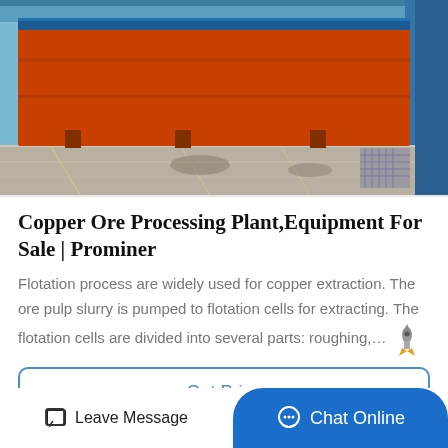[Figure (photo): A large orange/red industrial machine (copper ore processing equipment) photographed in a factory or warehouse setting. The machine has a blue top trim and sits on a concrete floor. A blue structural element is visible on the right side.]
Copper Ore Processing Plant,Equipment For Sale | Prominer
Flotation process are widely used for copper extraction. The ore pulp slurry is pumped to flotation cells for extracting. The flotation cells are divided into several parts: roughing,…
Get Price
Leave Message
Chat Online